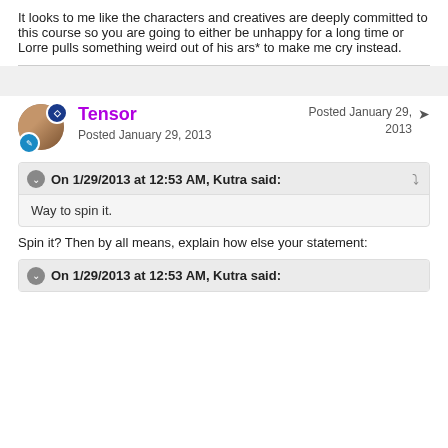It looks to me like the characters and creatives are deeply committed to this course so you are going to either be unhappy for a long time or Lorre pulls something weird out of his ars* to make me cry instead.
Tensor
Posted January 29, 2013
Posted January 29, 2013
On 1/29/2013 at 12:53 AM, Kutra said:
Way to spin it.
Spin it? Then by all means, explain how else your statement:
On 1/29/2013 at 12:53 AM, Kutra said: